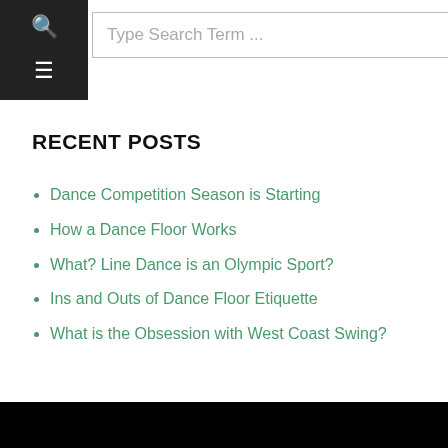Type Search Term ...
RECENT POSTS
Dance Competition Season is Starting
How a Dance Floor Works
What? Line Dance is an Olympic Sport?
Ins and Outs of Dance Floor Etiquette
What is the Obsession with West Coast Swing?